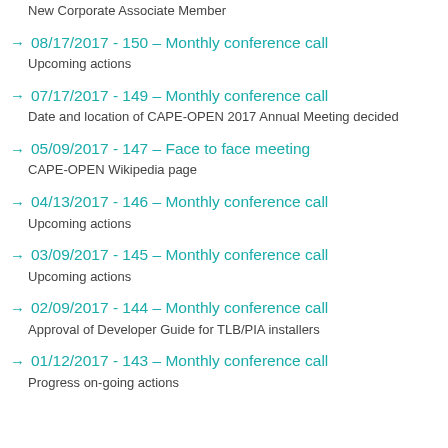New Corporate Associate Member
08/17/2017 - 150 – Monthly conference call
Upcoming actions
07/17/2017 - 149 – Monthly conference call
Date and location of CAPE-OPEN 2017 Annual Meeting decided
05/09/2017 - 147 – Face to face meeting
CAPE-OPEN Wikipedia page
04/13/2017 - 146 – Monthly conference call
Upcoming actions
03/09/2017 - 145 – Monthly conference call
Upcoming actions
02/09/2017 - 144 – Monthly conference call
Approval of Developer Guide for TLB/PIA installers
01/12/2017 - 143 – Monthly conference call
Progress on-going actions